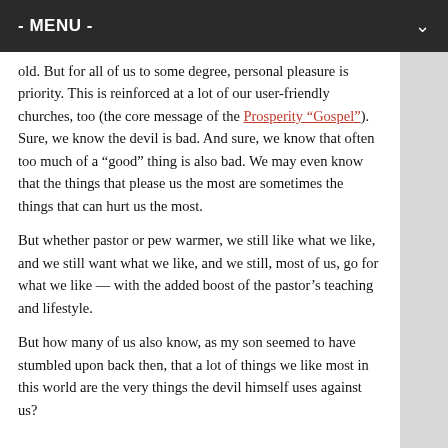- MENU -
old. But for all of us to some degree, personal pleasure is priority. This is reinforced at a lot of our user-friendly churches, too (the core message of the Prosperity “Gospel”).  Sure, we know the devil is bad. And sure, we know that often too much of a “good” thing is also bad. We may even know that the things that please us the most are sometimes the things that can hurt us the most.
But whether pastor or pew warmer, we still like what we like, and we still want what we like, and we still, most of us, go for what we like — with the added boost of the pastor’s teaching and lifestyle.
But how many of us also know, as my son seemed to have stumbled upon back then, that a lot of things we like most in this world are the very things the devil himself uses against us?